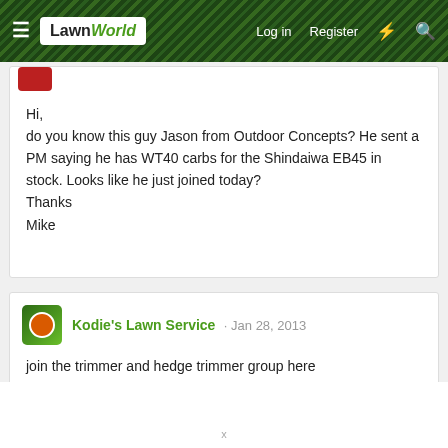LawnWorld — Log in  Register
Hi,
do you know this guy Jason from Outdoor Concepts? He sent a PM saying he has WT40 carbs for the Shindaiwa EB45 in stock. Looks like he just joined today?
Thanks
Mike
Kodie's Lawn Service · Jan 28, 2013
join the trimmer and hedge trimmer group here
http://www.lawnmowerforum.com/groups/trimmers-hedge-trimmers-group.html